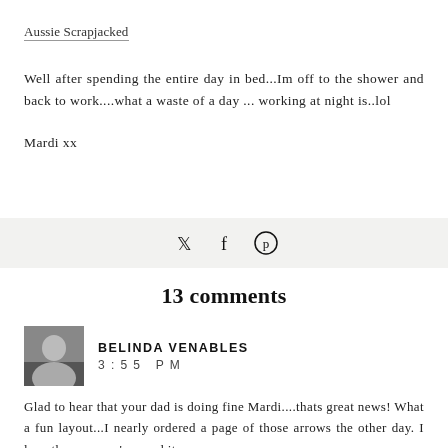Aussie Scrapjacked
Well after spending the entire day in bed...Im off to the shower and back to work....what a waste of a day ... working at night is..lol
Mardi xx
[Figure (infographic): Social share bar with Twitter, Facebook, and Pinterest icons]
13 comments
BELINDA VENABLES
3:55 PM
Glad to hear that your dad is doing fine Mardi....thats great news! What a fun layout...I nearly ordered a page of those arrows the other day. I love the way you've used it.